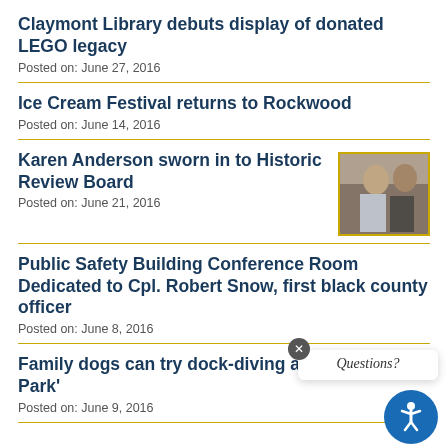Claymont Library debuts display of donated LEGO legacy
Posted on: June 27, 2016
Ice Cream Festival returns to Rockwood
Posted on: June 14, 2016
Karen Anderson sworn in to Historic Review Board
Posted on: June 21, 2016
[Figure (photo): Photo of Karen Anderson being sworn in, two people visible]
Public Safety Building Conference Room Dedicated to Cpl. Robert Snow, first black county officer
Posted on: June 8, 2016
Family dogs can try dock-diving at ‘Pets in the Park’
Posted on: June 9, 2016